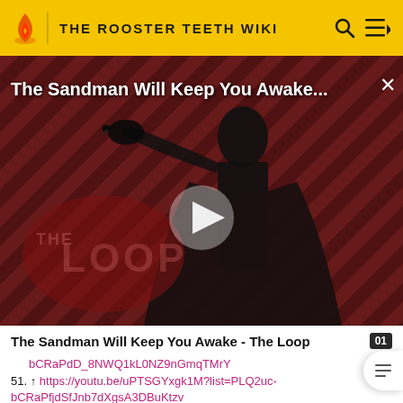THE ROOSTER TEETH WIKI
[Figure (screenshot): Video thumbnail for 'The Sandman Will Keep You Awake - The Loop' showing a figure in black against a diagonal striped dark red background with 'THE LOOP' watermark and a play button overlay]
The Sandman Will Keep You Awake - The Loop
bCRaPdD_8NWQ1kL0NZ9nGmqTMrY
51. ↑ https://youtu.be/uPTSGYxgk1M?list=PLQ2uc-bCRaPfjdSfJnb7dXgsA3DBuKtzv
52. ↑ https://youtu.be/Uu-i2...kM2-...